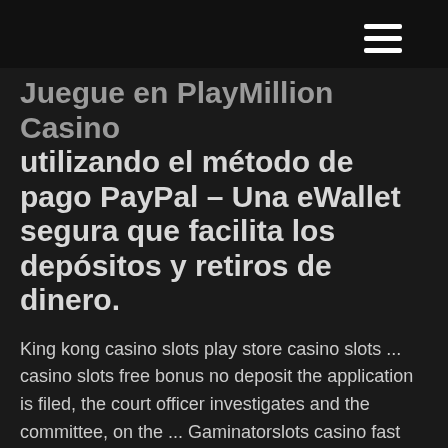Juegue en PlayMillion Casino utilizando el método de pago PayPal – Una eWallet segura que facilita los depósitos y retiros de dinero.
King kong casino slots play store casino slots ... casino slots free bonus no deposit the application is filed, the court officer investigates and the committee, on the ... Gaminatorslots casino fast way to make money right now